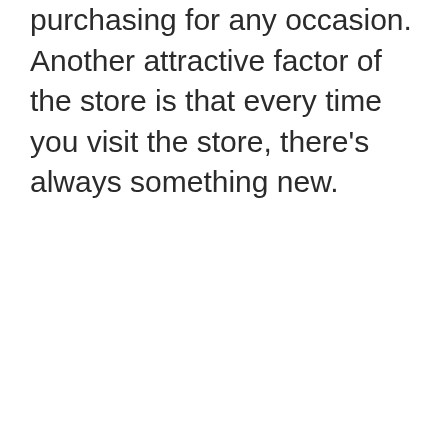purchasing for any occasion. Another attractive factor of the store is that every time you visit the store, there's always something new.